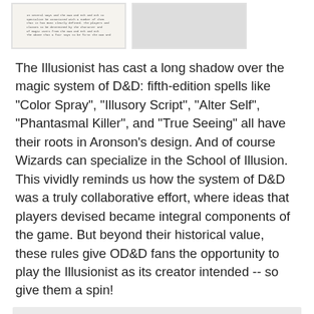[Figure (photo): Two side-by-side thumbnail images: left shows a scanned page of text, right shows a blank/gray page]
The Illusionist has cast a long shadow over the magic system of D&D: fifth-edition spells like "Color Spray", "Illusory Script", "Alter Self", "Phantasmal Killer", and "True Seeing" all have their roots in Aronson's design. And of course Wizards can specialize in the School of Illusion. This vividly reminds us how the system of D&D was a truly collaborative effort, where ideas that players devised became integral components of the game. But beyond their historical value, these rules give OD&D fans the opportunity to play the Illusionist as its creator intended -- so give them a spin!
Jon Peterson at 9:57 AM
Share
11 comments: